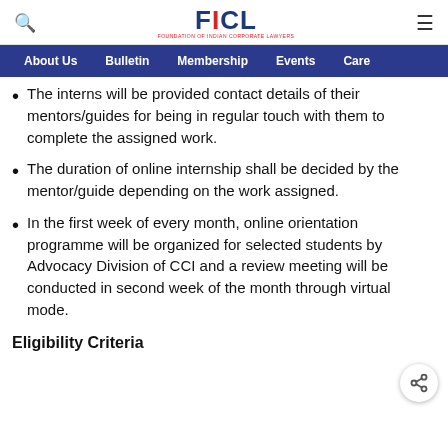FICL – Foundation of Indian Corporate Lawyers
About Us | Bulletin | Membership | Events | Care
The interns will be provided contact details of their mentors/guides for being in regular touch with them to complete the assigned work.
The duration of online internship shall be decided by the mentor/guide depending on the work assigned.
In the first week of every month, online orientation programme will be organized for selected students by Advocacy Division of CCI and a review meeting will be conducted in second week of the month through virtual mode.
Eligibility Criteria